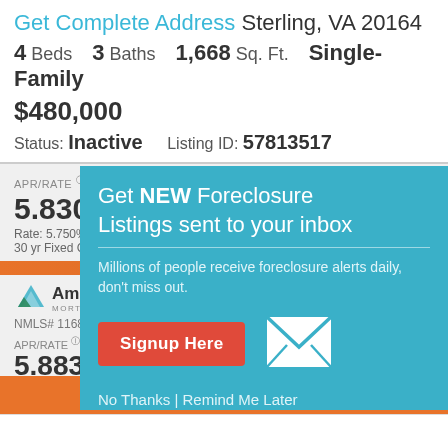Get Complete Address Sterling, VA 20164
4 Beds   3 Baths   1,668 Sq. Ft.   Single-Family
$480,000
Status: Inactive   Listing ID: 57813517
APR/RATE 5.830%  Rate: 5.750%  30 yr Fixed Conforming
MO. PAYMENT $1,167
AmeriSave MORT  NMLS# 1168  APR/RATE 5.883%  Rate: 5.875%  30 yr Fixed Conforming  Points: -0.06
Get NEW Foreclosure Listings sent to your inbox
Millions of people receive foreclosure alerts daily, don't miss out.
Signup Here
No Thanks | Remind Me Later
View Details